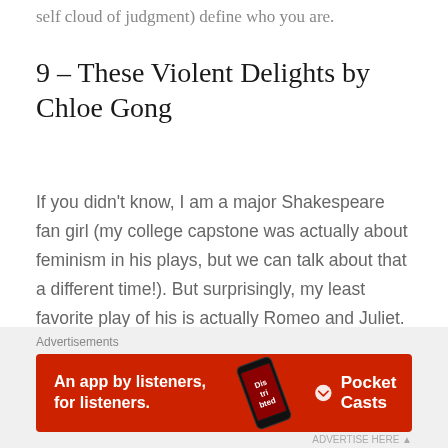self cloud of judgment) define who you are.
9 – These Violent Delights by Chloe Gong
If you didn't know, I am a major Shakespeare fan girl (my college capstone was actually about feminism in his plays, but we can talk about that a different time!). But surprisingly, my least favorite play of his is actually Romeo and Juliet. Maybe it's the countless poor re-imaginings of it out there or the tired old star-
Advertisements
[Figure (other): Red advertisement banner for Pocket Casts app: 'An app by listeners, for listeners.' with phone graphic and Pocket Casts logo]